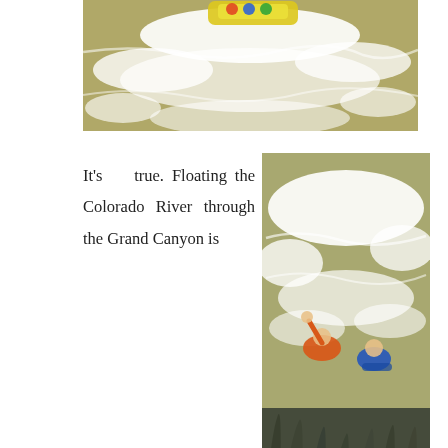[Figure (photo): Aerial/overhead view of a yellow raft with people navigating whitewater rapids on a turbulent brown-green river.]
[Figure (photo): Two kayakers swimming in turbulent whitewater rapids, one in an orange life jacket with arm raised, one in blue, viewed from above with riverbank vegetation visible at bottom.]
It's true. Floating the Colorado River through the Grand Canyon is an adventure of a lifetime. 23 days and 12 guys from Wyoming, California, New Zealand, and Tanzania that hardly knew each other at the beginning left as friends for life.
Mind blowing vistas, warm weather, great campsites, 7000 cfs to 37,000 cfs flow increase overnight, buffed out